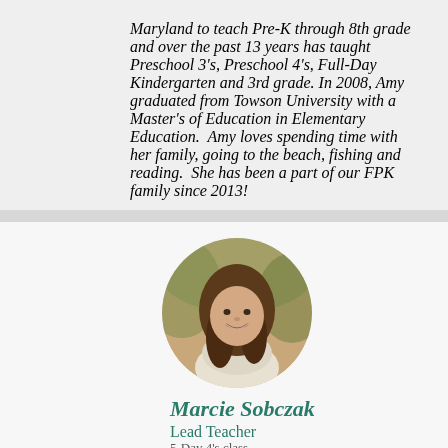Maryland to teach Pre-K through 8th grade and over the past 13 years has taught Preschool 3's, Preschool 4's, Full-Day Kindergarten and 3rd grade. In 2008, Amy graduated from Towson University with a Master's of Education in Elementary Education. Amy loves spending time with her family, going to the beach, fishing and reading. She has been a part of our FPK family since 2013!
[Figure (photo): Circular portrait photo of Marcie Sobczak, a woman with long brown hair, smiling, wearing a light-colored top, with a blurred autumn outdoor background.]
Marcie Sobczak
Lead Teacher
5-Day 4's class